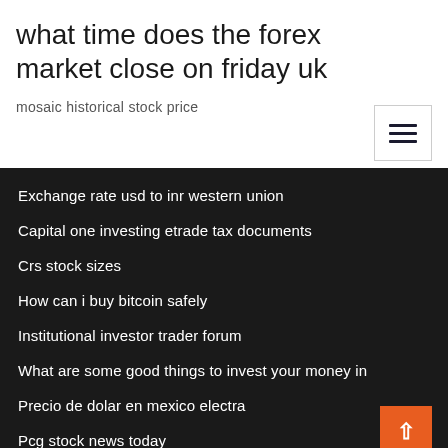what time does the forex market close on friday uk
mosaic historical stock price
Exchange rate usd to inr western union
Capital one investing etrade tax documents
Crs stock sizes
How can i buy bitcoin safely
Institutional investor trader forum
What are some good things to invest your money in
Precio de dolar en mexico electra
Pcg stock news today